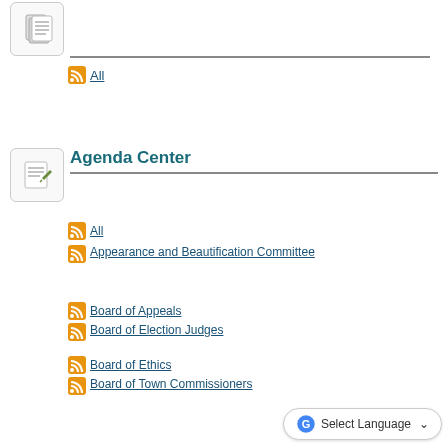[Figure (illustration): Pages icon - document with lines]
All
[Figure (illustration): Agenda Center icon - notepad with pencil]
Agenda Center
All
Appearance and Beautification Committee
Board of Appeals
Board of Election Judges
Board of Ethics
Board of Town Commissioners
Committee on the Elderly and Needy Citizens
Cultural Arts Commission
Economic Community Development Commission